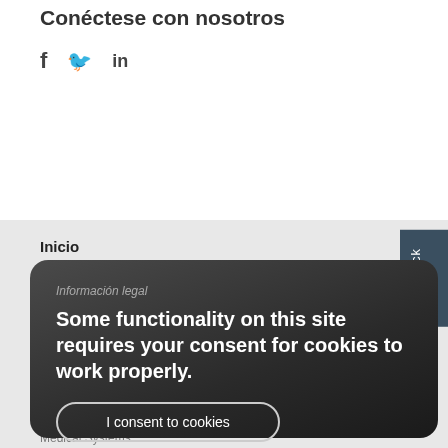Conéctese con nosotros
[Figure (illustration): Social media icons: Facebook (f), Twitter (bird), LinkedIn (in)]
Inicio
Declaración de privacidad
Información legal
Some functionality on this site requires your consent for cookies to work properly.
I consent to cookies
I want more information
feedback